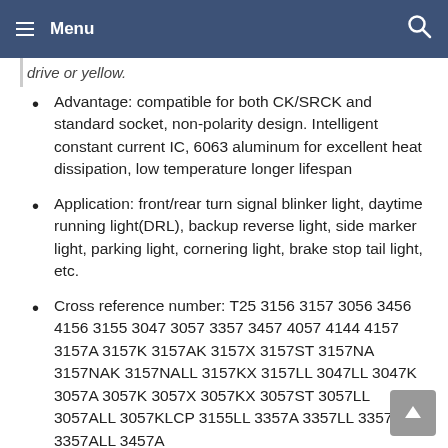Menu
drive or yellow.
Advantage: compatible for both CK/SRCK and standard socket, non-polarity design. Intelligent constant current IC, 6063 aluminum for excellent heat dissipation, low temperature longer lifespan
Application: front/rear turn signal blinker light, daytime running light(DRL), backup reverse light, side marker light, parking light, cornering light, brake stop tail light, etc.
Cross reference number: T25 3156 3157 3056 3456 4156 3155 3047 3057 3357 3457 4057 4144 4157 3157A 3157K 3157AK 3157X 3157ST 3157NA 3157NAK 3157NALL 3157KX 3157LL 3047LL 3047K 3057A 3057K 3057X 3057KX 3057ST 3057LL 3057ALL 3057KLCP 3155LL 3357A 3357LL 3357K 3357ALL 3457A